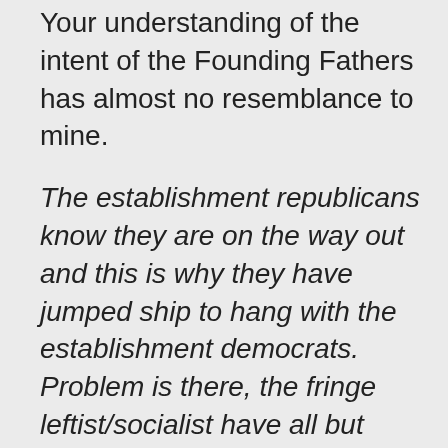Your understanding of the intent of the Founding Fathers has almost no resemblance to mine.
The establishment republicans know they are on the way out and this is why they have jumped ship to hang with the establishment democrats. Problem is there, the fringe leftist/socialist have all but taken over the democrats
Again, we have radically different views on this. The policies of Establishment Democrats today are pretty much in line with the policies of Establishment Republicans of the